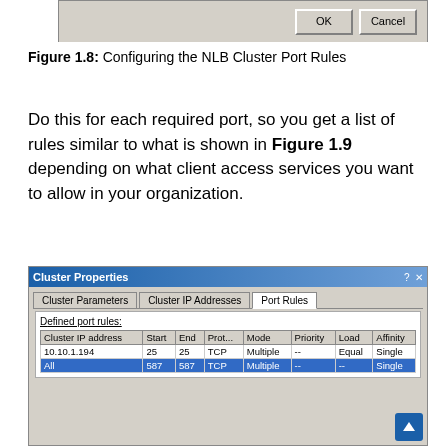[Figure (screenshot): Top fragment of a Windows dialog showing OK and Cancel buttons on a gray background.]
Figure 1.8: Configuring the NLB Cluster Port Rules
Do this for each required port, so you get a list of rules similar to what is shown in Figure 1.9 depending on what client access services you want to allow in your organization.
[Figure (screenshot): Windows 'Cluster Properties' dialog showing Port Rules tab with a table of defined port rules. Two rows: 10.10.1.194 | 25 | 25 | TCP | Multiple | -- | Equal | Single and All | 587 | 587 | TCP | Multiple | -- | -- | Single (selected/highlighted).]